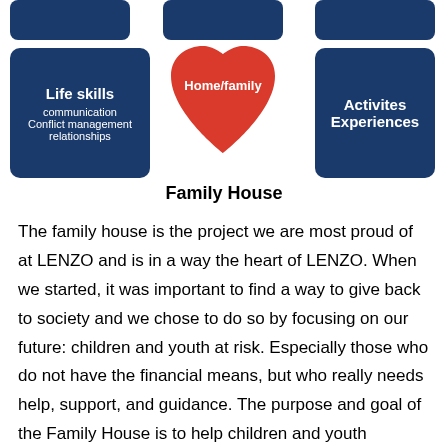[Figure (infographic): Infographic showing a heart shape labeled Home/family in the center, flanked by dark blue rounded boxes: Life skills (communication, Conflict management, relationships) on the left, and Activites Experiences on the right. Partial dark blue boxes visible at top.]
Family House
The family house is the project we are most proud of at LENZO and is in a way the heart of LENZO. When we started, it was important to find a way to give back to society and we chose to do so by focusing on our future: children and youth at risk. Especially those who do not have the financial means, but who really needs help, support, and guidance. The purpose and goal of the Family House is to help children and youth between 13-19 to